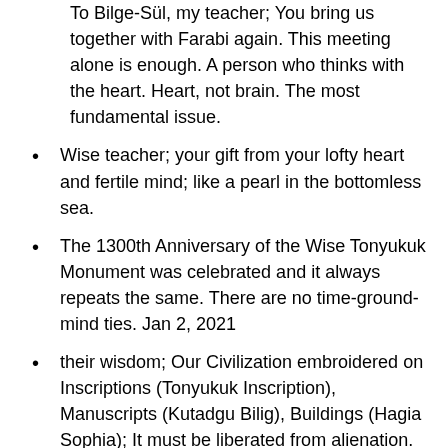To Bilge-Sül, my teacher; You bring us together with Farabi again. This meeting alone is enough. A person who thinks with the heart. Heart, not brain. The most fundamental issue.
Wise teacher; your gift from your lofty heart and fertile mind; like a pearl in the bottomless sea.
The 1300th Anniversary of the Wise Tonyukuk Monument was celebrated and it always repeats the same. There are no time-ground-mind ties. Jan 2, 2021
their wisdom; Our Civilization embroidered on Inscriptions (Tonyukuk Inscription), Manuscripts (Kutadgu Bilig), Buildings (Hagia Sophia); It must be liberated from alienation.
If there was a Tonyukuk, we wouldn't be taken into the matrix. February 10, 2016
Whoever (unknown) someone(s) is obviously the